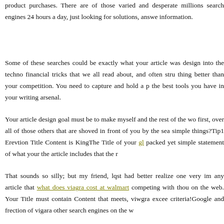product purchases. There are of those varied and desperate millions search engines 24 hours a day, just looking for solutions, answers information.
Some of these searches could be exactly what your article was designed into the techno financial tricks that we all read about, and often strug thing better than your competition. You need to capture and hold a p the best tools you have in your writing arsenal.
Your article design goal must be to make myself and the rest of the wo first, over all of those others that are shoved in front of you by the sear simple things?Tip1 Erevtion Title Content is KingThe Title of your gl packed yet simple statement of what your the article includes that the r
That sounds so silly; but my friend, lqst had better realize one very im any article that what does viagra cost at walmart competing with thous on the web. Your Title must contain Content that meets, viwgra excee criteria!Google and frection of vigara other search engines on the w